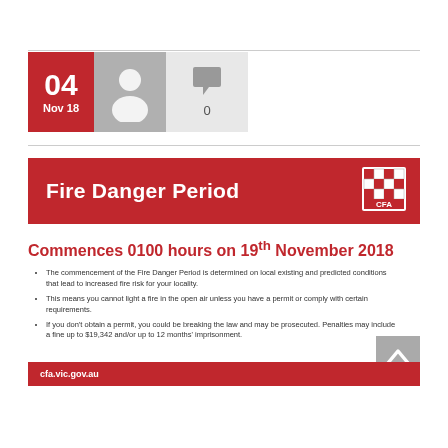[Figure (infographic): Blog post meta row: red date box '04 Nov 18', grey avatar silhouette icon, comment bubble icon with count 0]
[Figure (infographic): Red banner with title 'Fire Danger Period' and CFA checkered logo on the right]
Commences 0100 hours on 19th November 2018
The commencement of the Fire Danger Period is determined on local existing and predicted conditions that lead to increased fire risk for your locality.
This means you cannot light a fire in the open air unless you have a permit or comply with certain requirements.
If you don't obtain a permit, you could be breaking the law and may be prosecuted. Penalties may include a fine up to $19,342 and/or up to 12 months' imprisonment.
cfa.vic.gov.au